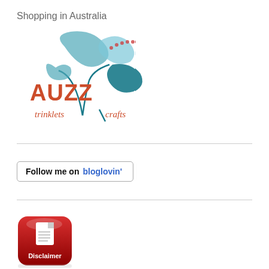Shopping in Australia
[Figure (logo): AUZZ trinklets & crafts logo with teal floral swirl design and rust/orange text]
[Figure (infographic): Follow me on bloglovin' button with rounded rectangle border]
[Figure (logo): Red rounded square Disclaimer icon button with document graphic and white text 'Disclaimer']